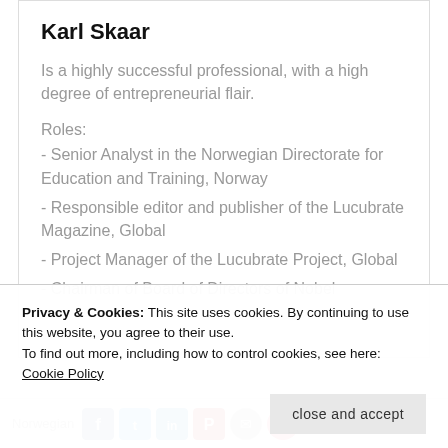Karl Skaar
Is a highly successful professional, with a high degree of entrepreneurial flair.
Roles:
- Senior Analyst in the Norwegian Directorate for Education and Training, Norway
- Responsible editor and publisher of the Lucubrate Magazine, Global
- Project Manager of the Lucubrate Project, Global
- Chairman of Board of Directors of Nobel
Privacy & Cookies: This site uses cookies. By continuing to use this website, you agree to their use. To find out more, including how to control cookies, see here: Cookie Policy